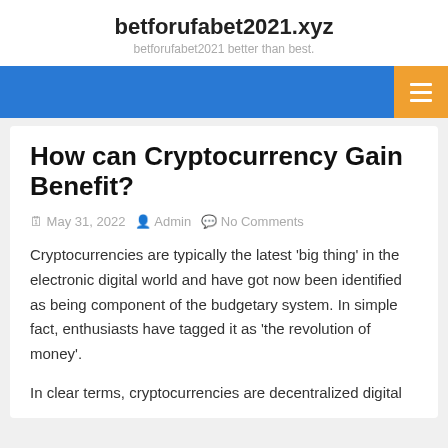betforufabet2021.xyz
betforufabet2021 better than best.
How can Cryptocurrency Gain Benefit?
May 31, 2022   Admin   No Comments
Cryptocurrencies are typically the latest ‘big thing’ in the electronic digital world and have got now been identified as being component of the budgetary system. In simple fact, enthusiasts have tagged it as ‘the revolution of money’.
In clear terms, cryptocurrencies are decentralized digital assets that can be exchanged between users without the need of a central authority…